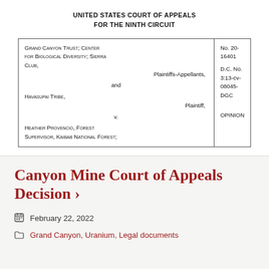UNITED STATES COURT OF APPEALS
FOR THE NINTH CIRCUIT
| Party | Case Info |
| --- | --- |
| GRAND CANYON TRUST; CENTER FOR BIOLOGICAL DIVERSITY; SIERRA CLUB,
Plaintiffs-Appellants,
and
HAVASUPAI TRIBE,
Plaintiff,
v.
HEATHER PROVENCIO, Forest Supervisor, Kaibab National Forest; | No. 20-16401
D.C. No.
3:13-cv-08045-DGC
OPINION |
Canyon Mine Court of Appeals Decision ›
February 22, 2022
Grand Canyon, Uranium, Legal documents